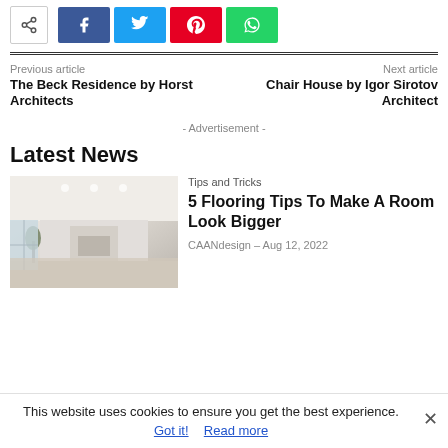[Figure (other): Social share buttons: share icon, Facebook, Twitter, Pinterest, WhatsApp]
Previous article
The Beck Residence by Horst Architects
Next article
Chair House by Igor Sirotov Architect
- Advertisement -
Latest News
[Figure (photo): Interior room photo showing a minimalist white living space with fireplace and tree]
Tips and Tricks
5 Flooring Tips To Make A Room Look Bigger
CAANdesign - Aug 12, 2022
This website uses cookies to ensure you get the best experience.
Got it!  Read more